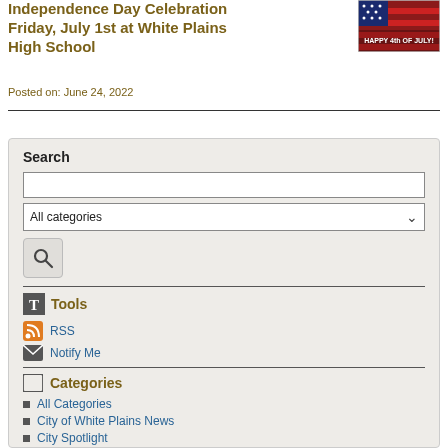Independence Day Celebration Friday, July 1st at White Plains High School
Posted on: June 24, 2022
[Figure (photo): Happy 4th of July banner image with red, white, and blue theme]
Search
Tools
RSS
Notify Me
Categories
All Categories
City of White Plains News
City Spotlight
Community Development News